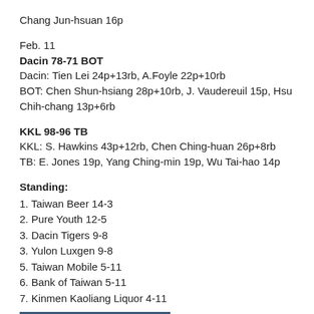Chang Jun-hsuan 16p
Feb. 11
Dacin 78-71 BOT
Dacin: Tien Lei 24p+13rb, A.Foyle 22p+10rb
BOT: Chen Shun-hsiang 28p+10rb, J. Vaudereuil 15p, Hsu Chih-chang 13p+6rb
KKL 98-96 TB
KKL: S. Hawkins 43p+12rb, Chen Ching-huan 26p+8rb
TB: E. Jones 19p, Yang Ching-min 19p, Wu Tai-hao 14p
Standing:
1. Taiwan Beer 14-3
2. Pure Youth 12-5
3. Dacin Tigers 9-8
3. Yulon Luxgen 9-8
5. Taiwan Mobile 5-11
6. Bank of Taiwan 5-11
7. Kinmen Kaoliang Liquor 4-11
[Figure (photo): Basketball game photo showing players and court background]